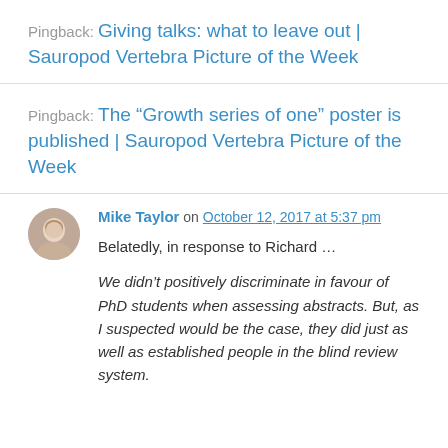Pingback: Giving talks: what to leave out | Sauropod Vertebra Picture of the Week
Pingback: The “Growth series of one” poster is published | Sauropod Vertebra Picture of the Week
Mike Taylor on October 12, 2017 at 5:37 pm
Belatedly, in response to Richard …
We didn’t positively discriminate in favour of PhD students when assessing abstracts. But, as I suspected would be the case, they did just as well as established people in the blind review system.